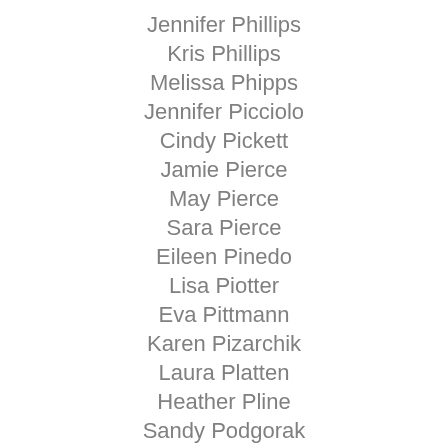Jennifer Phillips
Kris Phillips
Melissa Phipps
Jennifer Picciolo
Cindy Pickett
Jamie Pierce
May Pierce
Sara Pierce
Eileen Pinedo
Lisa Piotter
Eva Pittmann
Karen Pizarchik
Laura Platten
Heather Pline
Sandy Podgorak
Kelli Pohlabel
Kimm Pontillo
Tana Pope
Emily Porn